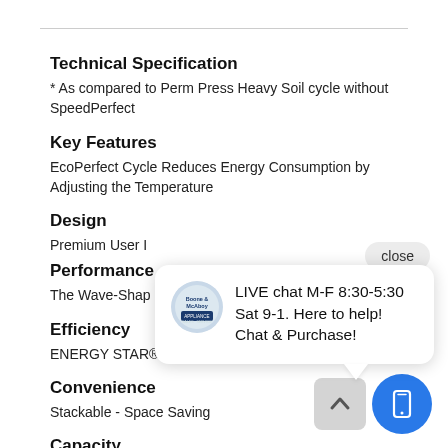Technical Specification
* As compared to Perm Press Heavy Soil cycle without SpeedPerfect
Key Features
EcoPerfect Cycle Reduces Energy Consumption by Adjusting the Temperature
Design
Premium User I
Performance
The Wave-Sha... Gentle Wash.
Efficiency
ENERGY STAR® Qualified
Convenience
Stackable - Space Saving
Capacity
[Figure (screenshot): Live chat popup with store logo avatar reading: LIVE chat M-F 8:30-5:30 Sat 9-1. Here to help! Chat & Purchase! with close button and scroll-up and mobile icon buttons]